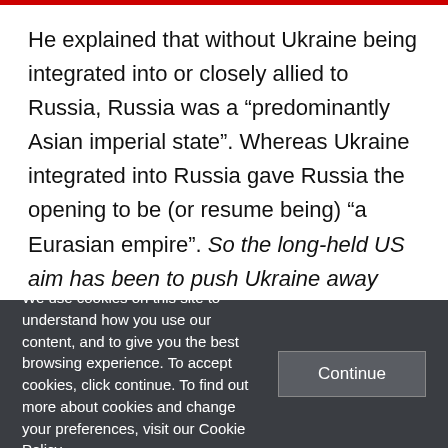He explained that without Ukraine being integrated into or closely allied to Russia, Russia was a “predominantly Asian imperial state”. Whereas Ukraine integrated into Russia gave Russia the opening to be (or resume being) “a Eurasian empire”. So the long-held US aim has been to push Ukraine away from Russia, as a major step towards constraining Russian strategy, and more
We use cookies on this site to understand how you use our content, and to give you the best browsing experience. To accept cookies, click continue. To find out more about cookies and change your preferences, visit our Cookie Policy.